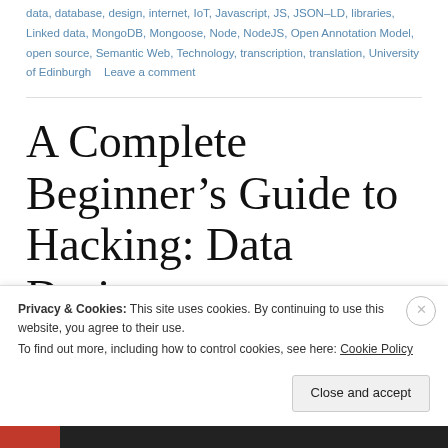data, database, design, internet, IoT, Javascript, JS, JSON-LD, libraries, Linked data, MongoDB, Mongoose, Node, NodeJS, Open Annotation Model, open source, Semantic Web, Technology, transcription, translation, University of Edinburgh    Leave a comment
A Complete Beginner’s Guide to Hacking: Data Design
Privacy & Cookies: This site uses cookies. By continuing to use this website, you agree to their use.
To find out more, including how to control cookies, see here: Cookie Policy
Close and accept